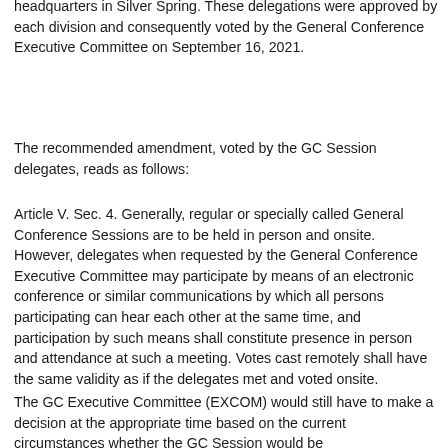headquarters in Silver Spring. These delegations were approved by each division and consequently voted by the General Conference Executive Committee on September 16, 2021.
The recommended amendment, voted by the GC Session delegates, reads as follows:
Article V. Sec. 4. Generally, regular or specially called General Conference Sessions are to be held in person and onsite. However, delegates when requested by the General Conference Executive Committee may participate by means of an electronic conference or similar communications by which all persons participating can hear each other at the same time, and participation by such means shall constitute presence in person and attendance at such a meeting. Votes cast remotely shall have the same validity as if the delegates met and voted onsite.
The GC Executive Committee (EXCOM) would still have to make a decision at the appropriate time based on the current circumstances whether the GC Session would be